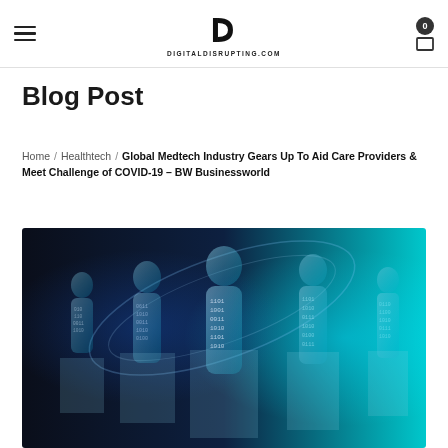DIGITALDISRUPTING.COM
Blog Post
Home / Healthtech / Global Medtech Industry Gears Up To Aid Care Providers & Meet Challenge of COVID-19 – BW Businessworld
[Figure (photo): Digital technology concept with silhouettes of human figures made of binary code (0s and 1s) against a dark blue and cyan glowing background.]